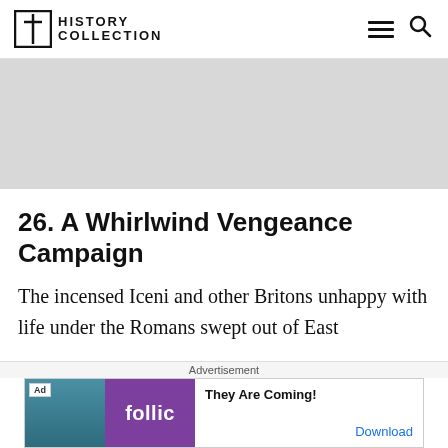History Collection
[Figure (other): Gray placeholder advertisement banner area]
26. A Whirlwind Vengeance Campaign
The incensed Iceni and other Britons unhappy with life under the Romans swept out of East
Advertisement
[Figure (other): Advertisement banner: Rollic game ad 'They Are Coming!' with Download link]